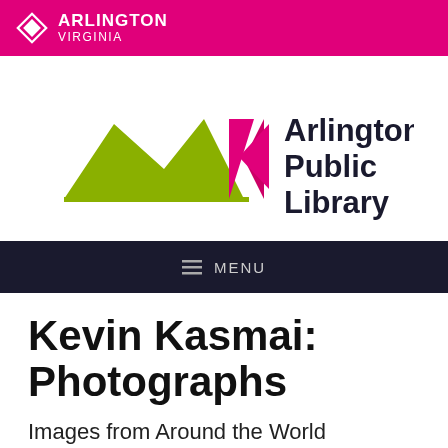[Figure (logo): Arlington Virginia government logo - white diamond/S shape icon on magenta background with text ARLINGTON VIRGINIA]
[Figure (logo): Arlington Public Library logo - olive green abstract book/mountain shape with pink triangle, text reads Arlington Public Library]
[Figure (screenshot): Dark navigation bar with hamburger menu icon and MENU text]
Kevin Kasmai: Photographs
Images from Around the World
On exhibit at the Aurora Hills Branch Library, February – April 2015